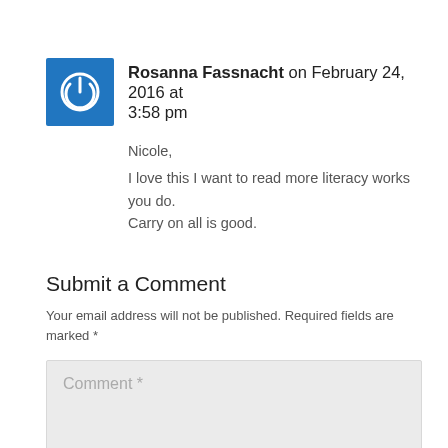Rosanna Fassnacht on February 24, 2016 at 3:58 pm
Nicole,
I love this I want to read more literacy works you do. Carry on all is good.
Submit a Comment
Your email address will not be published. Required fields are marked *